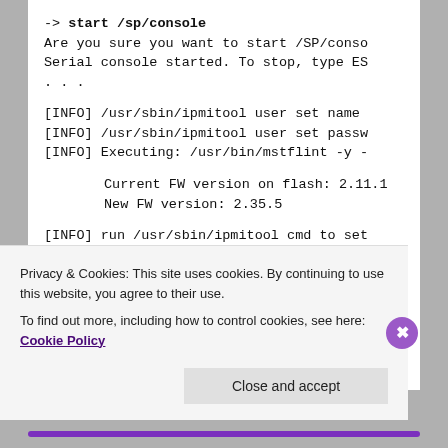[Figure (screenshot): Terminal/console output showing IPMI and firmware flash commands with output lines including start /sp/console, INFO messages, firmware version info, and burning FS2 FW image lines]
Privacy & Cookies: This site uses cookies. By continuing to use this website, you agree to their use.
To find out more, including how to control cookies, see here: Cookie Policy